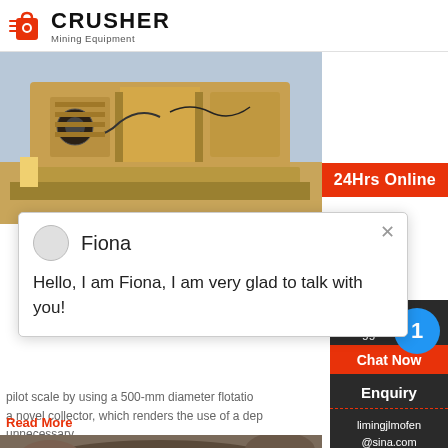CRUSHER Mining Equipment
[Figure (photo): Mining crusher machine photographed in desert/sandy environment, tan/gold colored heavy machinery]
24Hrs Online
Fiona
Hello, I am Fiona, I am very glad to talk with you!
pilot scale by using a 500-mm diameter flotation a novel collector, which renders the use of a dep unnecessary.
Read More
Need & sugg Chat Now
1
Enquiry
limingjlmofen@sina.com
[Figure (photo): Aerial/overhead view of open pit mine with heavy equipment and vehicles visible]